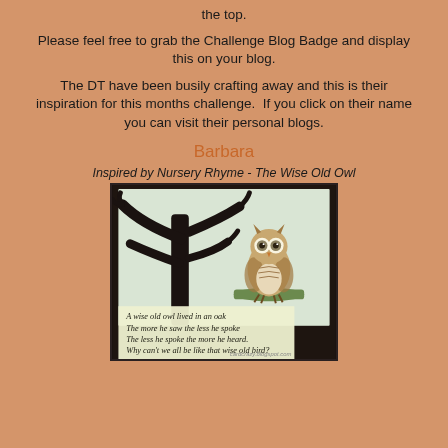the top.
Please feel free to grab the Challenge Blog Badge and display this on your blog.
The DT have been busily crafting away and this is their inspiration for this months challenge.  If you click on their name you can visit their personal blogs.
Barbara
Inspired by Nursery Rhyme - The Wise Old Owl
[Figure (photo): Handmade craft card featuring a wise old owl sitting on a branch silhouette against a textured background, with nursery rhyme text: A wise old owl lived in an oak / The more he saw the less he spoke / The less he spoke the more he heard. / Why can't we all be like that wise old bird? Watermark: cardcrazy.blogspot.com]